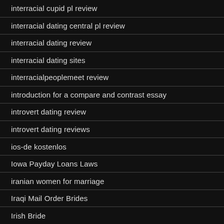interracial cupid pl review
interracial dating central pl review
interracial dating review
interracial dating sites
interracialpeoplemeet review
introduction for a compare and contrast essay
introvert dating review
introvert dating reviews
ios-de kostenlos
Iowa Payday Loans Laws
iranian women for marriage
Iraqi Mail Order Brides
Irish Bride